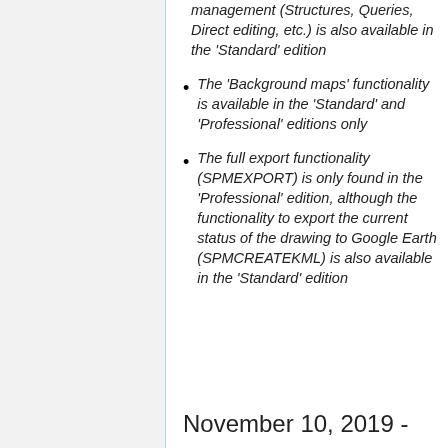management (Structures, Queries, Direct editing, etc.) is also available in the 'Standard' edition
The 'Background maps' functionality is available in the 'Standard' and 'Professional' editions only
The full export functionality (SPMEXPORT) is only found in the 'Professional' edition, although the functionality to export the current status of the drawing to Google Earth (SPMCREATEKML) is also available in the 'Standard' edition
November 10, 2019 -